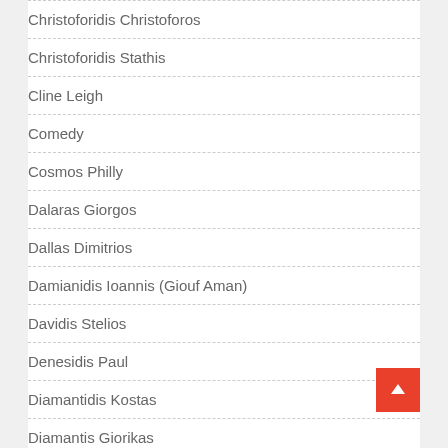Christoforidis Christoforos
Christoforidis Stathis
Cline Leigh
Comedy
Cosmos Philly
Dalaras Giorgos
Dallas Dimitrios
Damianidis Ioannis (Giouf Aman)
Davidis Stelios
Denesidis Paul
Diamantidis Kostas
Diamantis Giorikas